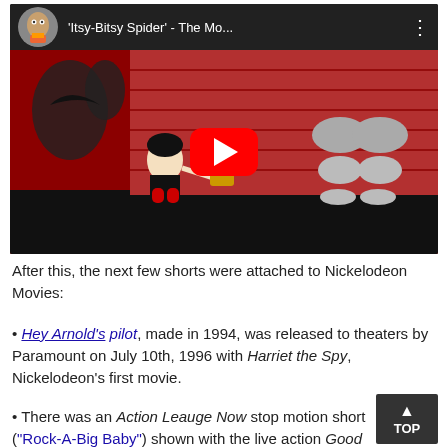[Figure (screenshot): YouTube video thumbnail showing 'Itsy-Bitsy Spider' - The Mo... with a cartoon animation scene. A red play button is centered on the thumbnail. The video bar shows a cartoon character thumbnail, the title, and a three-dot menu.]
After this, the next few shorts were attached to Nickelodeon Movies:
• Hey Arnold's pilot, made in 1994, was released to theaters by Paramount on July 10th, 1996 with Harriet the Spy, Nickelodeon's first movie.
• There was an Action Leauge Now stop motion short ("Rock-A-Big Baby") shown with the live action Good Burger